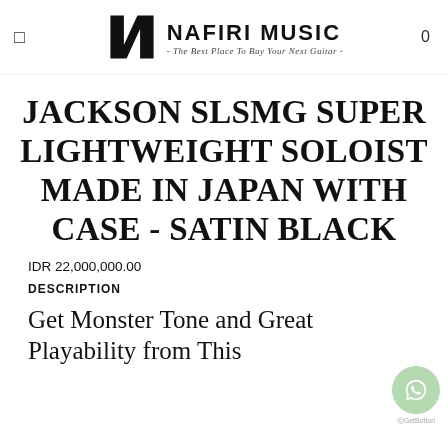NAFIRI MUSIC - The Best Place To Buy Your Next Guitar -
JACKSON SLSMG SUPER LIGHTWEIGHT SOLOIST MADE IN JAPAN WITH CASE - SATIN BLACK
IDR 22,000,000.00
DESCRIPTION
Get Monster Tone and Great Playability from This